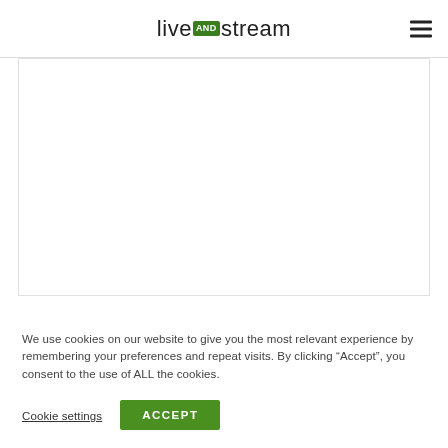livestream (with 'AND' badge logo) — navigation header
[Figure (screenshot): White rectangle content area below header, representing a webpage main content region]
We use cookies on our website to give you the most relevant experience by remembering your preferences and repeat visits. By clicking “Accept”, you consent to the use of ALL the cookies.
Cookie settings  ACCEPT